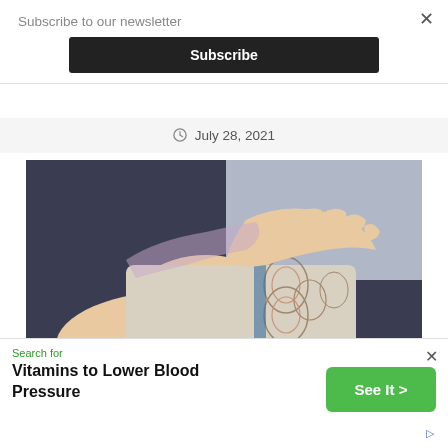Subscribe to our newsletter
Subscribe
July 28, 2021
[Figure (photo): A person lying down with a cold wet towel/compress being placed on their forehead by a hand, eyes closed, appearing to have a headache or fever.]
Search for
Vitamins to Lower Blood Pressure
See It >